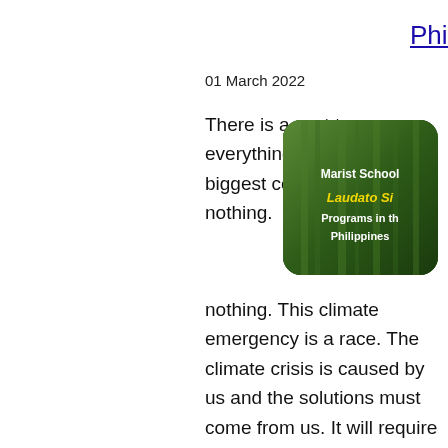Philippines
01 March 2022
[Figure (photo): Marist School Laudato Si Programs in the Philippines — image showing bamboo/forest background with overlaid text]
There is a cost to everything we do. But the biggest cost is doing nothing. This climate emergency is a race. The climate crisis is caused by us and the solutions must come from us. It will require fundamental transformations in all aspects of society. How we grow food, use land, fuel our transport. The COVID